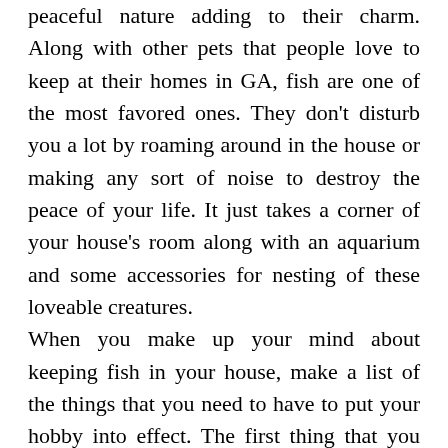peaceful nature adding to their charm. Along with other pets that people love to keep at their homes in GA, fish are one of the most favored ones. They don't disturb you a lot by roaming around in the house or making any sort of noise to destroy the peace of your life. It just takes a corner of your house's room along with an aquarium and some accessories for nesting of these loveable creatures. When you make up your mind about keeping fish in your house, make a list of the things that you need to have to put your hobby into effect. The first thing that you need is a fish tank in Fort Benning, GA of a suitable size according to the number of fish and space available in your house.These are available in a variety of sizes, shapes and range of prices. To